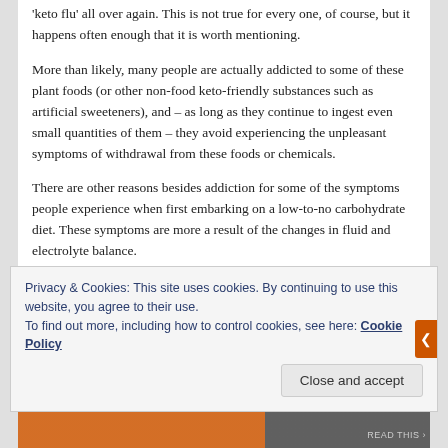'keto flu' all over again. This is not true for every one, of course, but it happens often enough that it is worth mentioning.
More than likely, many people are actually addicted to some of these plant foods (or other non-food keto-friendly substances such as artificial sweeteners), and – as long as they continue to ingest even small quantities of them – they avoid experiencing the unpleasant symptoms of withdrawal from these foods or chemicals.
There are other reasons besides addiction for some of the symptoms people experience when first embarking on a low-to-no carbohydrate diet. These symptoms are more a result of the changes in fluid and electrolyte balance.
Privacy & Cookies: This site uses cookies. By continuing to use this website, you agree to their use.
To find out more, including how to control cookies, see here: Cookie Policy